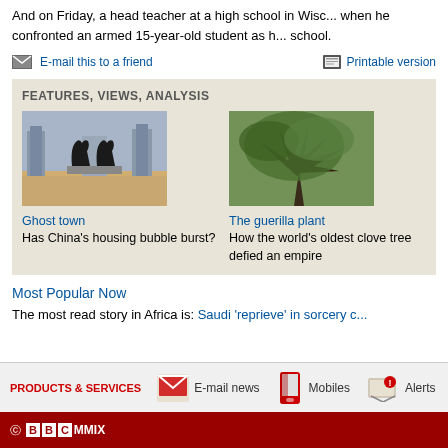And on Friday, a head teacher at a high school in Wisconsin was shot when he confronted an armed 15-year-old student as he tried to enter the school.
E-mail this to a friend   Printable version
FEATURES, VIEWS, ANALYSIS
[Figure (photo): Two rearing horse statues with city skyline in background]
Ghost town
Has China's housing bubble burst?
[Figure (photo): Large old tree with sprawling branches]
The guerilla plant
How the world's oldest clove tree defied an empire
Most Popular Now
The most read story in Africa is: Saudi 'reprieve' in sorcery c…
PRODUCTS & SERVICES   E-mail news   Mobiles   Alerts
© BBC MMIX